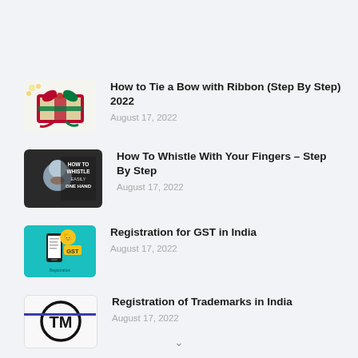How to Tie a Bow with Ribbon (Step By Step) 2022 — August 17, 2022
How To Whistle With Your Fingers – Step By Step — August 17, 2022
Registration for GST in India — August 17, 2022
Registration of Trademarks in India — August 17, 2022